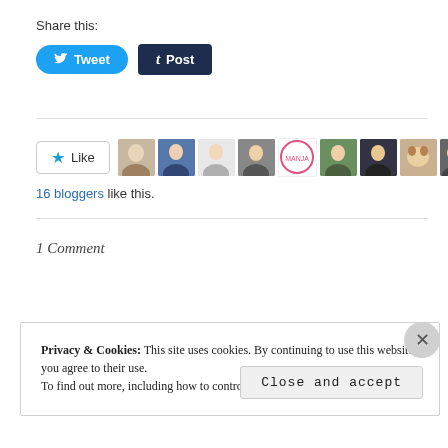Share this:
[Figure (other): Tweet and Post social sharing buttons (Twitter and Tumblr)]
[Figure (other): Like button with star icon and 10 blogger avatar thumbnails]
16 bloggers like this.
1 Comment
Privacy & Cookies: This site uses cookies. By continuing to use this website, you agree to their use.
To find out more, including how to control cookies, see here: Cookie Policy
Close and accept